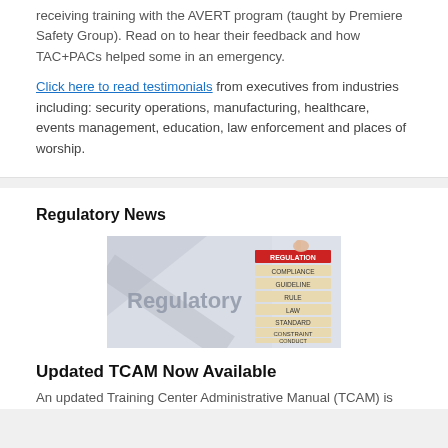receiving training with the AVERT program (taught by Premiere Safety Group). Read on to hear their feedback and how TAC+PACs helped some in an emergency.
Click here to read testimonials from executives from industries including: security operations, manufacturing, healthcare, events management, education, law enforcement and places of worship.
Regulatory News
[Figure (photo): A regulatory-themed image showing wooden blocks stacked with labels: REGULATION (red, top), COMPLIANCE, GUIDELINE, RULE, LAW, STANDARD, CONSTRAINT, CONDUCT, PROCEDURE, alongside the word 'Regulatory' in large gray text and a hand placing the top block.]
Updated TCAM Now Available
An updated Training Center Administrative Manual (TCAM) is